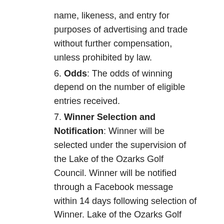name, likeness, and entry for purposes of advertising and trade without further compensation, unless prohibited by law.
6. Odds: The odds of winning depend on the number of eligible entries received.
7. Winner Selection and Notification: Winner will be selected under the supervision of the Lake of the Ozarks Golf Council. Winner will be notified through a Facebook message within 14 days following selection of Winner. Lake of the Ozarks Golf Council shall have no liability for Winner's failure to receive notices due to spam, junk e-mail or other security settings or for Winner's provision of incorrect or otherwise non-functioning contact information. If Winner cannot be contacted, is ineligible, fails to claim the prize within 30 days from the time award notification was sent, or fails to timely return a completed and executed